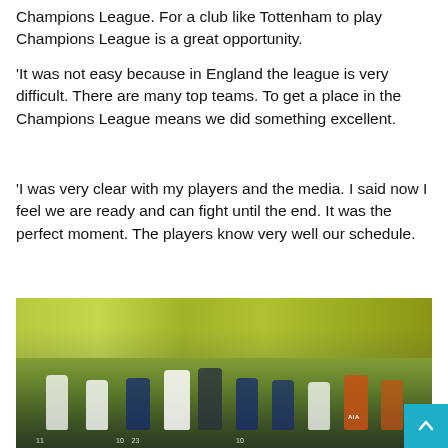Champions League. For a club like Tottenham to play Champions League is a great opportunity.
'It was not easy because in England the league is very difficult. There are many top teams. To get a place in the Champions League means we did something excellent.
'I was very clear with my players and the media. I said now I feel we are ready and can fight until the end. It was the perfect moment. The players know very well our schedule.
[Figure (photo): Tottenham Hotspur players applauding fans on the pitch, wearing white and dark blue training kits, with an orange goalkeeper jersey visible on the right, crowd visible in the background.]